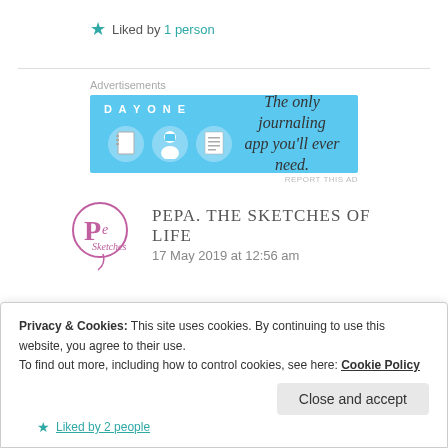★ Liked by 1 person
[Figure (other): DayOne journaling app advertisement banner with teal/blue background showing app icons and text: The only journaling app you'll ever need.]
REPORT THIS AD
[Figure (logo): Pepa The Sketches of Life blog logo - circular logo with stylized initials and cursive text]
PEPA. THE SKETCHES OF LIFE
17 May 2019 at 12:56 am
Privacy & Cookies: This site uses cookies. By continuing to use this website, you agree to their use.
To find out more, including how to control cookies, see here: Cookie Policy
Close and accept
Liked by 2 people